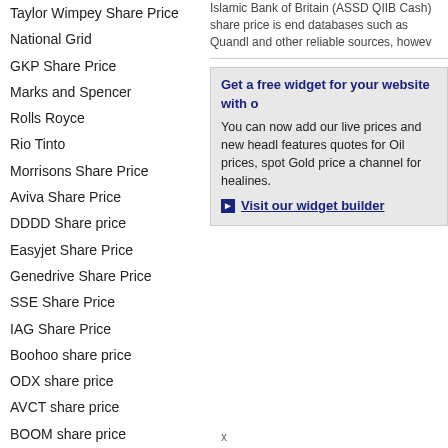Taylor Wimpey Share Price
National Grid
GKP Share Price
Marks and Spencer
Rolls Royce
Rio Tinto
Morrisons Share Price
Aviva Share Price
DDDD Share price
Easyjet Share Price
Genedrive Share Price
SSE Share Price
IAG Share Price
Boohoo share price
ODX share price
AVCT share price
BOOM share price
Islamic Bank of Britain (ASSD QIIB Cash) share price is end databases such as Quandl and other reliable sources, howev
Get a free widget for your website with o You can now add our live prices and new headl features quotes for Oil prices, spot Gold price a channel for healines. Visit our widget builder
x